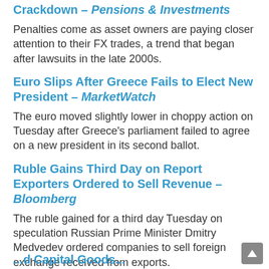Crackdown – Pensions & Investments
Penalties come as asset owners are paying closer attention to their FX trades, a trend that began after lawsuits in the late 2000s.
Euro Slips After Greece Fails to Elect New President – MarketWatch
The euro moved slightly lower in choppy action on Tuesday after Greece's parliament failed to agree on a new president in its second ballot.
Ruble Gains Third Day on Report Exporters Ordered to Sell Revenue – Bloomberg
The ruble gained for a third day Tuesday on speculation Russian Prime Minister Dmitry Medvedev ordered companies to sell foreign exchange received from exports.
...Informed Capital Goods...